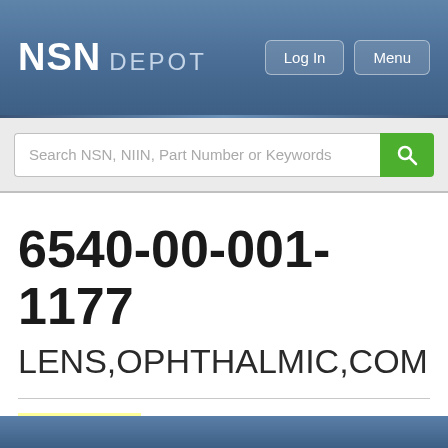NSN DEPOT
[Figure (screenshot): Search bar with placeholder text 'Search NSN, NIIN, Part Number or Keywords' and a green search button]
6540-00-001-1177
LENS,OPHTHALMIC,COMPOU
6540-00-001-1177 (6540000011177, 000011177)